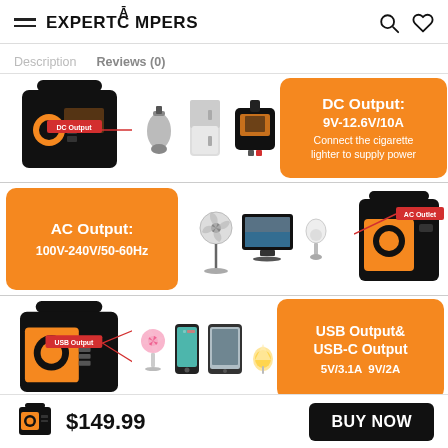EXPERTCAMPERS
Description   Reviews (0)
[Figure (infographic): DC Output section: portable power station device with DC Output label, connected to car vacuum, mini fridge, and car jump starter appliances. Orange info box: DC Output: 9V-12.6V/10A Connect the cigarette lighter to supply power]
[Figure (infographic): AC Output section: orange info box: AC Output: 100V-240V/50-60Hz. Appliances: fan, TV, earbuds. Power station device on right with AC Outlet label.]
[Figure (infographic): USB Output & USB-C Output section: power station device with USB Output label, small fan, phone, tablet, lamp appliances. Orange info box: USB Output& USB-C Output 5V/3.1A  9V/2A]
$149.99   BUY NOW